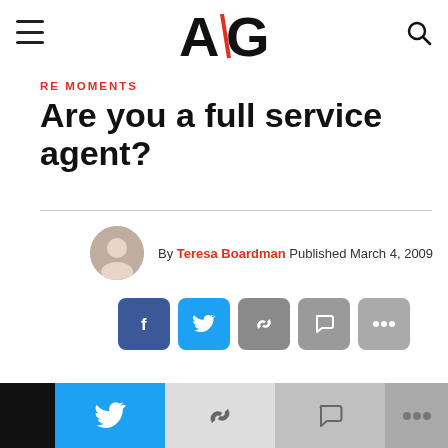AG (logo) — hamburger menu, search icon
RE MOMENTS
Are you a full service agent?
By Teresa Boardman  Published  March 4, 2009
[Figure (infographic): Social sharing buttons: Facebook, Twitter, Link, Comment, More]